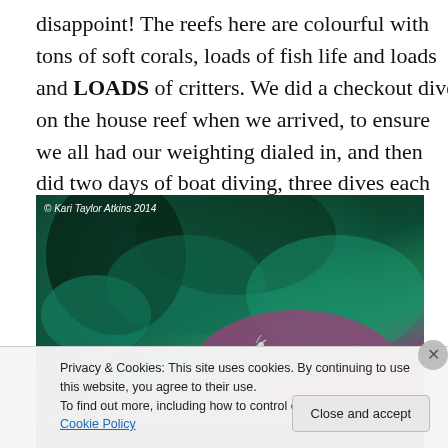disappoint! The reefs here are colourful with tons of soft corals, loads of fish life and loads and LOADS of critters. We did a checkout dive on the house reef when we arrived, to ensure we all had our weighting dialed in, and then did two days of boat diving, three dives each day.
[Figure (photo): Underwater reef photo showing dark background with teal/green coral and a purple/pink coral in the foreground, with a small shrimp or critter visible. Copyright Kari Taylor Atkins 2014.]
Privacy & Cookies: This site uses cookies. By continuing to use this website, you agree to their use. To find out more, including how to control cookies, see here: Cookie Policy